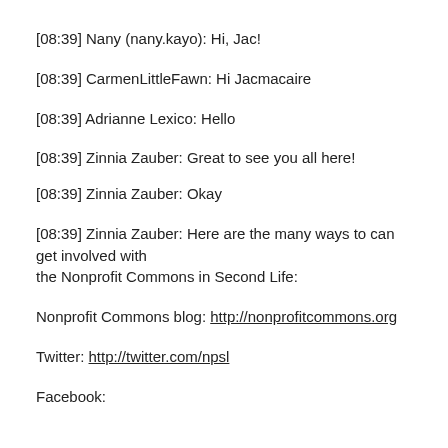[08:39] Nany (nany.kayo): Hi, Jac!
[08:39] CarmenLittleFawn: Hi Jacmacaire
[08:39] Adrianne Lexico: Hello
[08:39] Zinnia Zauber: Great to see you all here!
[08:39] Zinnia Zauber: Okay
[08:39] Zinnia Zauber: Here are the many ways to can get involved with the Nonprofit Commons in Second Life:
Nonprofit Commons blog: http://nonprofitcommons.org
Twitter: http://twitter.com/npsl
Facebook: